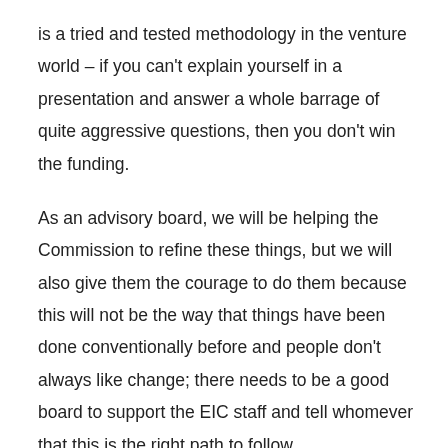is a tried and tested methodology in the venture world – if you can't explain yourself in a presentation and answer a whole barrage of quite aggressive questions, then you don't win the funding.
As an advisory board, we will be helping the Commission to refine these things, but we will also give them the courage to do them because this will not be the way that things have been done conventionally before and people don't always like change; there needs to be a good board to support the EIC staff and tell whomever that this is the right path to follow.
The Prizes, akin to the Longitude Prize, are interesting